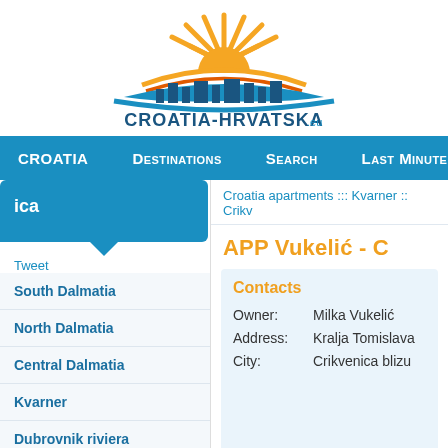[Figure (logo): Croatia-Hrvatska.eu logo with sun rays, open book shape, city skyline in blue, orange arc, and text CROATIA-HRVATSKA.eu]
CROATIA  Destinations  Search  Last minute
ica  Tweet
Croatia apartments ::: Kvarner :: Crikv
APP Vukelić - C
Contacts
Owner: Milka Vukelić
Address: Kralja Tomislava
City: Crikvenica blizu
South Dalmatia
North Dalmatia
Central Dalmatia
Kvarner
Dubrovnik riviera